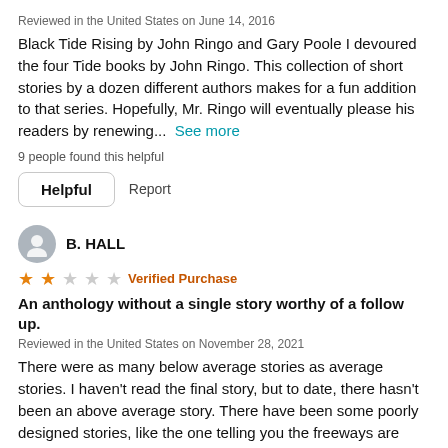Reviewed in the United States on June 14, 2016
Black Tide Rising by John Ringo and Gary Poole I devoured the four Tide books by John Ringo. This collection of short stories by a dozen different authors makes for a fun addition to that series. Hopefully, Mr. Ringo will eventually please his readers by renewing...  See more
9 people found this helpful
Helpful   Report
B. HALL
★★☆☆☆  Verified Purchase
An anthology without a single story worthy of a follow up.
Reviewed in the United States on November 28, 2021
There were as many below average stories as average stories. I haven't read the final story, but to date, there hasn't been an above average story. There have been some poorly designed stories, like the one telling you the freeways are impassable parking lots and then...  See more